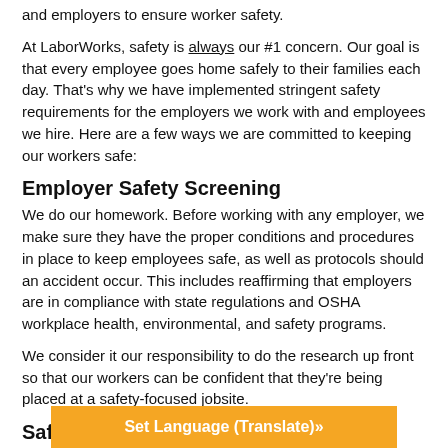and employers to ensure worker safety.
At LaborWorks, safety is always our #1 concern. Our goal is that every employee goes home safely to their families each day. That's why we have implemented stringent safety requirements for the employers we work with and employees we hire. Here are a few ways we are committed to keeping our workers safe:
Employer Safety Screening
We do our homework. Before working with any employer, we make sure they have the proper conditions and procedures in place to keep employees safe, as well as protocols should an accident occur. This includes reaffirming that employers are in compliance with state regulations and OSHA workplace health, environmental, and safety programs.
We consider it our responsibility to do the research up front so that our workers can be confident that they're being placed at a safety-focused jobsite.
Safety Training a
Set Language (Translate)»